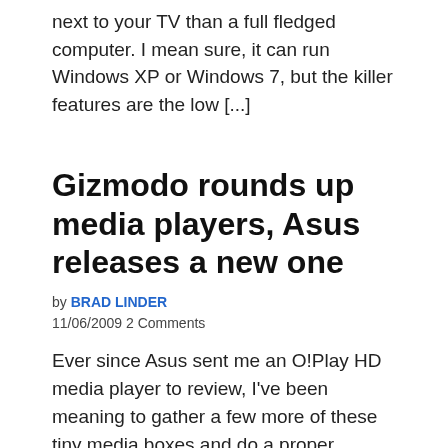next to your TV than a full fledged computer. I mean sure, it can run Windows XP or Windows 7, but the killer features are the low [...]
Gizmodo rounds up media players, Asus releases a new one
by BRAD LINDER
11/06/2009 2 Comments
Ever since Asus sent me an O!Play HD media player to review, I've been meaning to gather a few more of these tiny media boxes and do a proper roundup. But Gizmodo has beat me to it. The tech blog put together a not-quite comprehensive roundup of media streaming